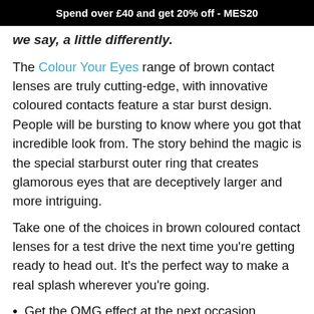Spend over £40 and get 20% off - MES20
we say, a little differently.
The Colour Your Eyes range of brown contact lenses are truly cutting-edge, with innovative coloured contacts feature a star burst design. People will be bursting to know where you got that incredible look from. The story behind the magic is the special starburst outer ring that creates glamorous eyes that are deceptively larger and more intriguing.
Take one of the choices in brown coloured contact lenses for a test drive the next time you're getting ready to head out. It's the perfect way to make a real splash wherever you're going.
Get the OMG effect at the next occasion
Make that special event all the more special
Get a fancy look for a fancy dress outfit